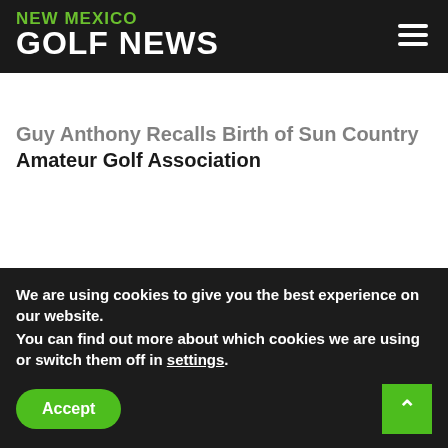NEW MEXICO GOLF NEWS
Guy Anthony Recalls Birth of Sun Country Amateur Golf Association
We are using cookies to give you the best experience on our website.
You can find out more about which cookies we are using or switch them off in settings.
Accept